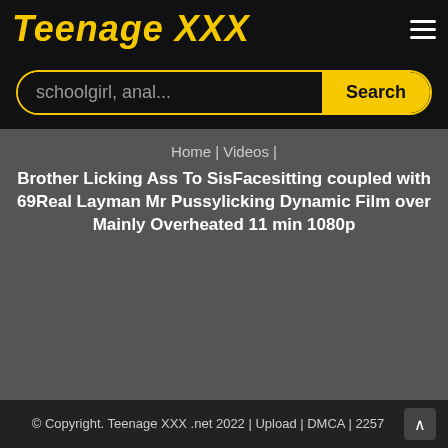Teenage XXX
schoolgirl, anal...
Home | Videos |
Brother Licking Ass To SisFacesitting coupled with 69Real Layman Mr Pussylicking Dynamic Film over Mainly Overheated 11 min 1080p
© Copyright. Teenage XXX .net 2022 | Upload | DMCA | 2257